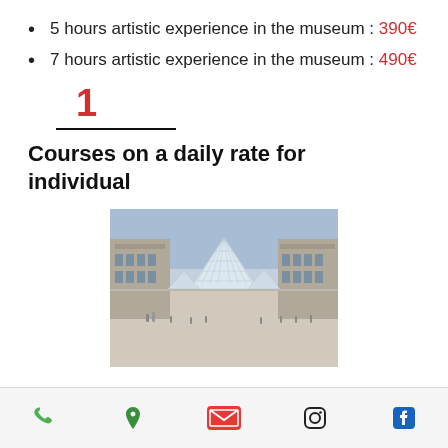5 hours artistic experience in the museum : 390€
7 hours artistic experience in the museum : 490€
1
Courses on a daily rate for individual
[Figure (photo): Photo of the Louvre museum with its famous glass pyramids in the courtyard, people visible in foreground, classical French architecture in background, overcast sky.]
Phone | Location | Email | Instagram | Facebook icons